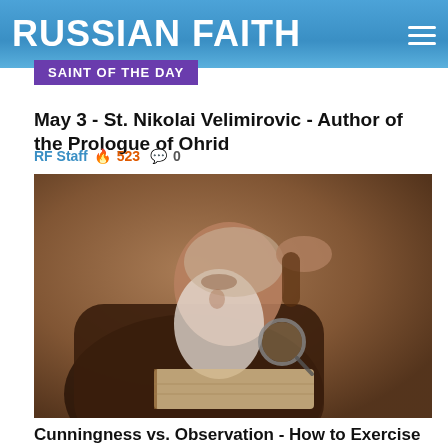RUSSIAN FAITH
SAINT OF THE DAY
May 3 - St. Nikolai Velimirovic - Author of the Prologue of Ohrid
RF Staff 🔥 523 💬 0
[Figure (photo): Sepia-toned vintage photograph of an elderly bearded man reading a book with a magnifying glass, resting his hand on his forehead]
Cunningness vs. Observation - How to Exercise Judgement Without Being "Judgemental"